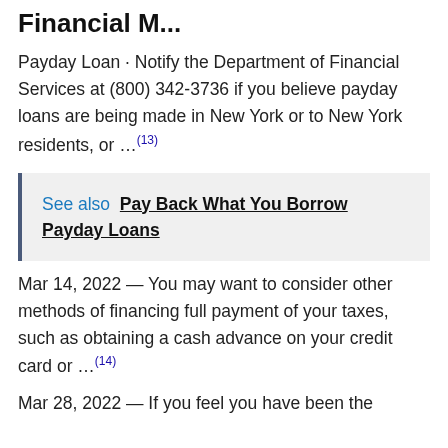Financial M...
Payday Loan · Notify the Department of Financial Services at (800) 342-3736 if you believe payday loans are being made in New York or to New York residents, or …(13)
See also  Pay Back What You Borrow Payday Loans
Mar 14, 2022 — You may want to consider other methods of financing full payment of your taxes, such as obtaining a cash advance on your credit card or …(14)
Mar 28, 2022 — If you feel you have been the